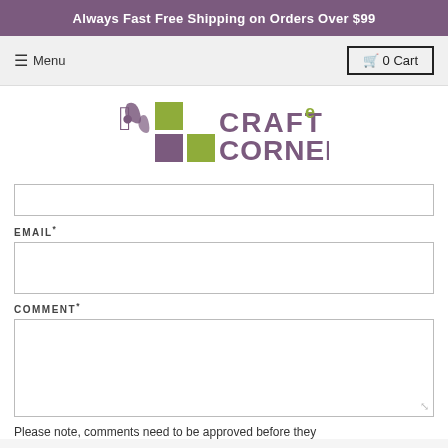Always Fast Free Shipping on Orders Over $99
[Figure (logo): Craft e Corner logo with colorful squares and stylized text]
EMAIL*
COMMENT*
Please note, comments need to be approved before they